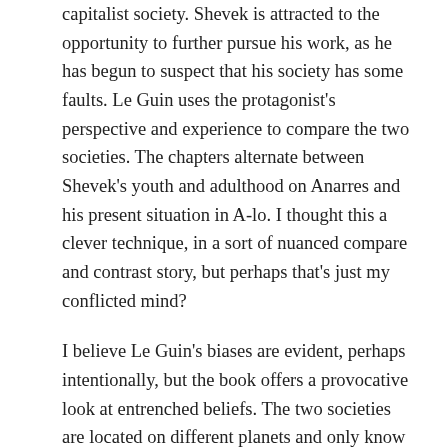capitalist society. Shevek is attracted to the opportunity to further pursue his work, as he has begun to suspect that his society has some faults. Le Guin uses the protagonist's perspective and experience to compare the two societies. The chapters alternate between Shevek's youth and adulthood on Anarres and his present situation in A-lo. I thought this a clever technique, in a sort of nuanced compare and contrast story, but perhaps that's just my conflicted mind?
I believe Le Guin's biases are evident, perhaps intentionally, but the book offers a provocative look at entrenched beliefs. The two societies are located on different planets and only know each other via their society's own information (sometimes called propaganda), very similar to the way each of us